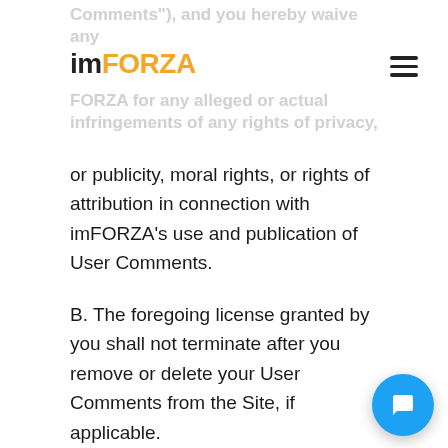imFORZA
Comments"), and you hereby waive any claims against imFORZA for any alleged or actual infringements of any rights of privacy or publicity, moral rights, or rights of attribution in connection with imFORZA’s use and publication of User Comments.
B. The foregoing license granted by you shall not terminate after you remove or delete your User Comments from the Site, if applicable.
C. In connection with User Comments, you further agree that you will not: (i) submit material that is copyrighted, protected by trade secret or otherwise subject to third party proprietary rights, including, without